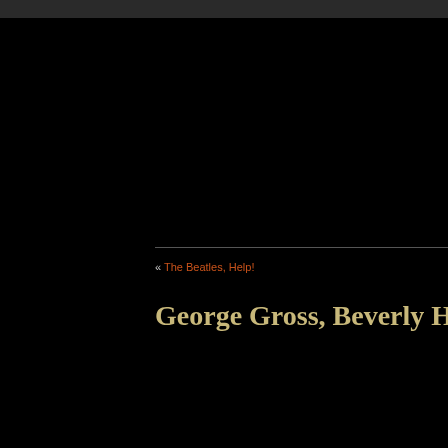« The Beatles, Help!
George Gross, Beverly Hills Mons